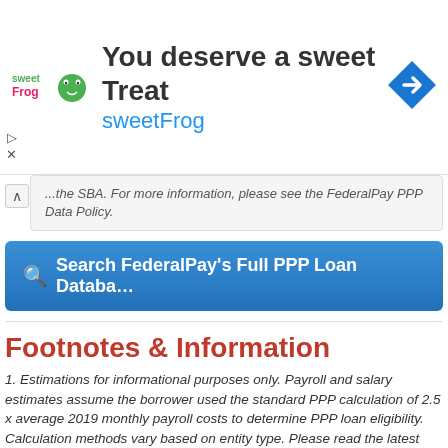[Figure (other): SweetFrog advertisement banner with logo, headline 'You deserve a sweet Treat', subtext 'sweetFrog', and a blue navigation arrow icon]
...the SBA. For more information, please see the FederalPay PPP Data Policy.
Search FederalPay's Full PPP Loan Database
Footnotes & Information
1. Estimations for informational purposes only. Payroll and salary estimates assume the borrower used the standard PPP calculation of 2.5 x average 2019 monthly payroll costs to determine PPP loan eligibility. Calculation methods vary based on entity type. Please read the latest official SBA PPP calculation rules for a full explanation of PPP loan amount calculation methods.
2. If a company's reported number of employees divided by the